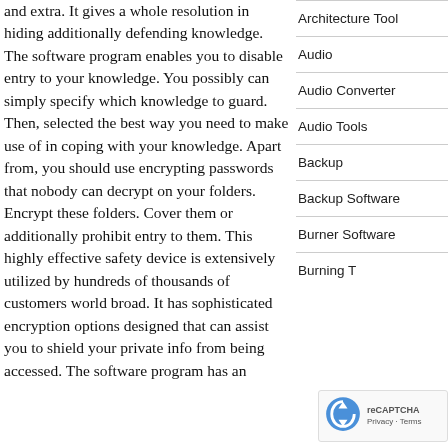and extra. It gives a whole resolution in hiding additionally defending knowledge. The software program enables you to disable entry to your knowledge. You possibly can simply specify which knowledge to guard. Then, selected the best way you need to make use of in coping with your knowledge. Apart from, you should use encrypting passwords that nobody can decrypt on your folders. Encrypt these folders. Cover them or additionally prohibit entry to them. This highly effective safety device is extensively utilized by hundreds of thousands of customers world broad. It has sophisticated encryption options designed that can assist you to shield your private info from being accessed. The software program has an
Architecture Tool
Audio
Audio Converter
Audio Tools
Backup
Backup Software
Burner Software
Burning T…